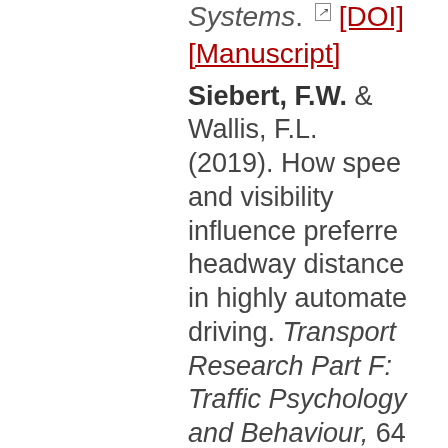Systems. [↗] [DOI] [Manuscript]
Siebert, F.W. & Wallis, F.L. (2019). How speed and visibility influence preferred headway distance in highly automated driving. Transportation Research Part F: Traffic Psychology and Behaviour, 64